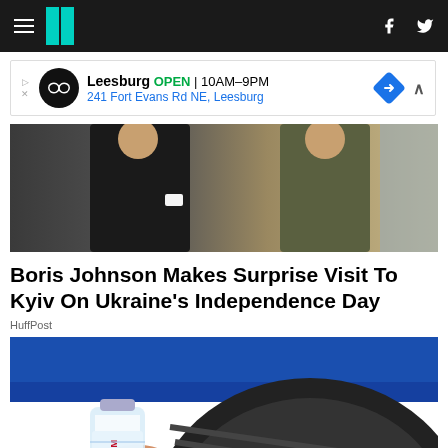HuffPost navigation bar with hamburger menu, logo, Facebook and Twitter icons
[Figure (infographic): Advertisement banner: Leesburg store, OPEN 10AM-9PM, 241 Fort Evans Rd NE, Leesburg, with navigation arrow icon]
[Figure (photo): Two people standing outdoors, one in a dark suit (Boris Johnson) and one in military-style clothing]
Boris Johnson Makes Surprise Visit To Kyiv On Ukraine's Independence Day
HuffPost
[Figure (photo): Hand holding a water bottle (Pilgrim Russian brand) placed against a blue car tire]